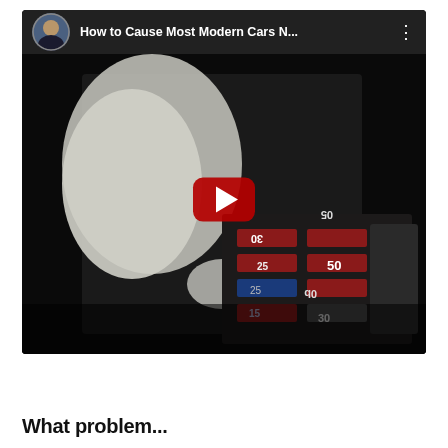[Figure (screenshot): YouTube video thumbnail showing a gloved hand interacting with a car fuse box in a dark setting. The video title in the header reads 'How to Cause Most Modern Cars N...' with a channel avatar icon on the left and a three-dot menu on the right. A red YouTube play button is centered on the thumbnail. Fuse boxes with numbers like 25, 30, 40, 50 are visible.]
What problem...